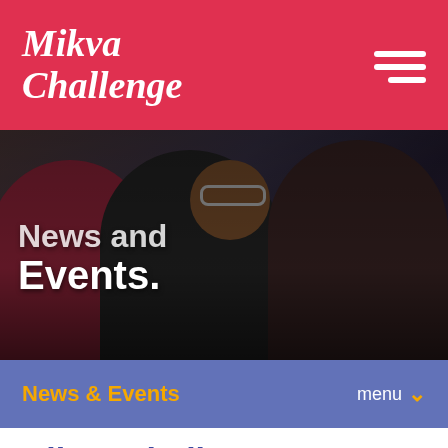Mikva Challenge
[Figure (photo): Background hero photo showing a group of smiling young people at an event, with text overlay reading 'News and Events.']
News and Events.
News & Events
Mikva Challenge Appoints Vernée